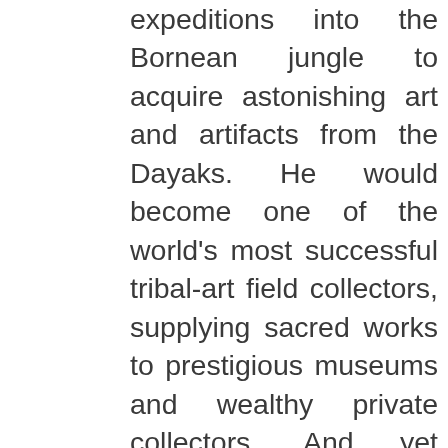expeditions into the Bornean jungle to acquire astonishing art and artifacts from the Dayaks. He would become one of the world's most successful tribal-art field collectors, supplying sacred works to prestigious museums and wealthy private collectors. And yet suspicion shadowed this self-styled buccaneer who made his living extracting the treasure of the Dayak: Was he preserving or exploiting native culture? As Carl Hoffman unravels the deepening riddle of Bruno's disappearance and seeks answers to the questions surrounding both men, it becomes clear saint and sinner are not so easily defined and Michael and Bruno are, in a sense, two parts of one whole: each spent his life in pursuit of the sacred fire of indigenous people. The Last Wild Men of Borneo is the product of Hoffman's extensive travels to the region, guided by Penan through